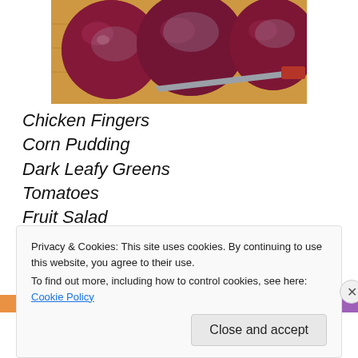[Figure (photo): Photo of dark red plums/fruits on a wooden cutting board with a knife]
Chicken Fingers
Corn Pudding
Dark Leafy Greens
Tomatoes
Fruit Salad
[Figure (screenshot): Partial banner/advertisement strip at the bottom of the page]
Privacy & Cookies: This site uses cookies. By continuing to use this website, you agree to their use.
To find out more, including how to control cookies, see here: Cookie Policy